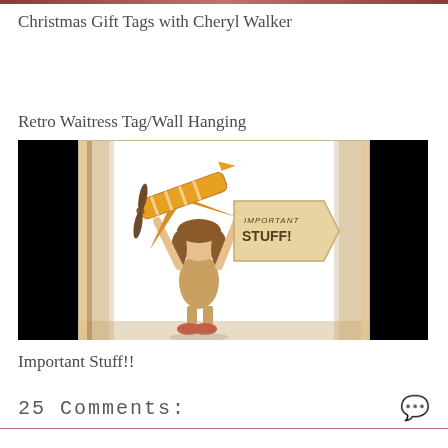Christmas Gift Tags with Cheryl Walker
Retro Waitress Tag/Wall Hanging
[Figure (photo): Craft card photo showing a cartoon character carrying an airplane with a banner sign reading IMPORTANT STUFF! against a black background]
Important Stuff!!
25 Comments: